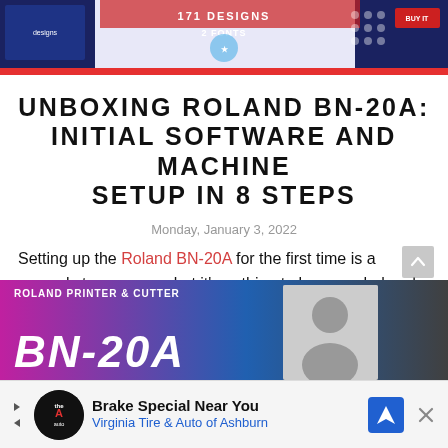[Figure (illustration): Decorative banner advertisement with patriotic American theme design, red, white and blue colors, text '171 DESIGNS 2 FONTS']
UNBOXING ROLAND BN-20A: INITIAL SOFTWARE AND MACHINE SETUP IN 8 STEPS
Monday, January 3, 2022
Setting up the Roland BN-20A for the first time is a several step process, but it's nothing to be overwhelmed about!
[Figure (photo): Roland Printer & Cutter BN-20A promotional banner image with person visible on right side]
[Figure (illustration): Advertisement: Brake Special Near You - Virginia Tire & Auto of Ashburn, with navigation icon]